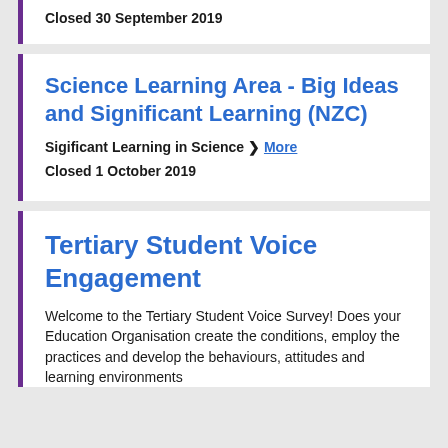Closed 30 September 2019
Science Learning Area - Big Ideas and Significant Learning (NZC)
Sigificant Learning in Science ❯ More
Closed 1 October 2019
Tertiary Student Voice Engagement
Welcome to the Tertiary Student Voice Survey! Does your Education Organisation create the conditions, employ the practices and develop the behaviours, attitudes and learning environments